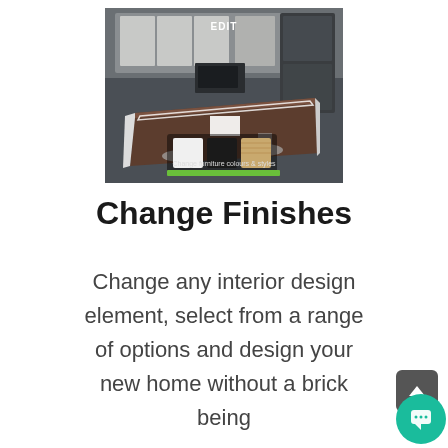[Figure (screenshot): Screenshot of a 3D kitchen interior design app showing an island counter with bar stools, appliances, and material swatches (white, black, wood) at the bottom. Text reads 'EDIT' at top and 'Change furniture colours & styles' at bottom with a green highlight bar.]
Change Finishes
Change any interior design element, select from a range of options and design your new home without a brick being